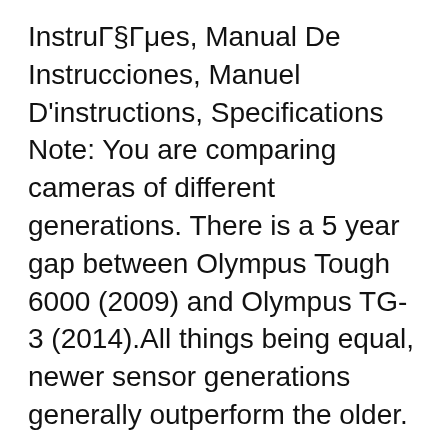InstruГ§Гμes, Manual De Instrucciones, Manuel D'instructions, Specifications Note: You are comparing cameras of different generations. There is a 5 year gap between Olympus Tough 6000 (2009) and Olympus TG-3 (2014).All things being equal, newer sensor generations generally outperform the older.
Olympus Tough TG-320 Manual User Guide. We have said previously that the purpose of this article is to bring the Olympus Tough TG-320 Manual onto the surface. With this manual, we hope that we can help both user and enthusiast to understand about this camera product more than before. Digital Camera 456,